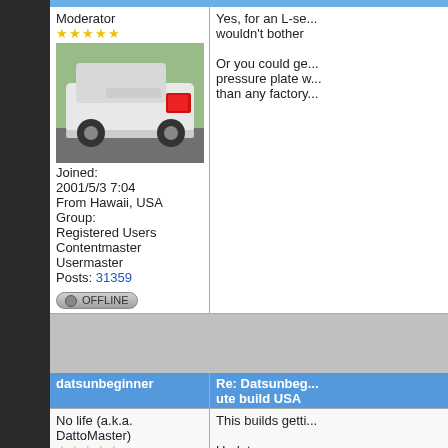Moderator ★★★★★
[Figure (photo): White Datsun car rear view photo]
Joined: 2001/5/3 7:04
From Hawaii, USA
Group:
Registered Users
Contentmaster
Usermaster
Posts: 31359
OFFLINE
Transfer
Yes, for an L-se... wouldn't bother

Or you could ge... pressure plate w... than any factory...
datsunbeginner
Re: Datsunbeg... ute build USA
No life (a.k.a. DattoMaster) ★★★★★
[Figure (photo): Red car interior photo]
This builds getti...

Updates soon.
[Figure (photo): Brown/tan colored surface photo]